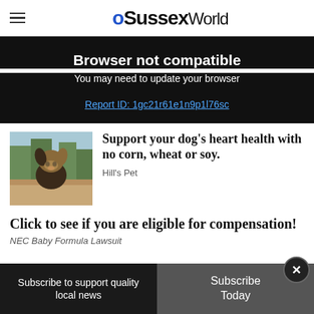Sussex World
Browser not compatible
You may need to update your browser
Report ID: 1gc21r61e1n9p1l76sc
[Figure (photo): A dog looking over a wooden fence outdoors with trees in background]
Support your dog's heart health with no corn, wheat or soy.
Hill's Pet
Click to see if you are eligible for compensation!
NEC Baby Formula Lawsuit
Subscribe to support quality local news
Subscribe Today